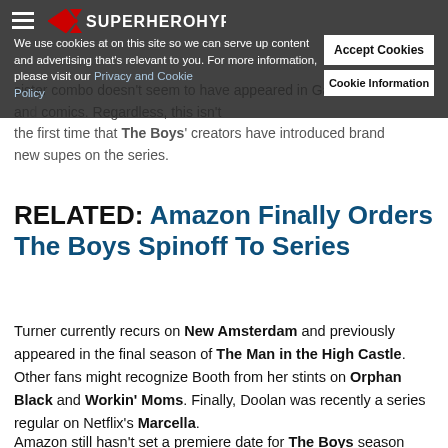SuperHeroHype
We use cookies at on this site so we can serve up content and advertising that's relevant to you. For more information, please visit our Privacy and Cookie Policy
sister combo doesn't seem to have appeared in Garth Ennis' and comics. Regardless, this isn't the first time that The Boys' creators have introduced brand new supes on the series.
RELATED: Amazon Finally Orders The Boys Spinoff To Series
Turner currently recurs on New Amsterdam and previously appeared in the final season of The Man in the High Castle. Other fans might recognize Booth from her stints on Orphan Black and Workin' Moms. Finally, Doolan was recently a series regular on Netflix's Marcella.
Amazon still hasn't set a premiere date for The Boys season